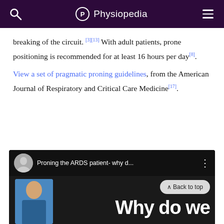Physiopedia
breaking of the circuit.[3][13] With adult patients, prone positioning is recommended for at least 16 hours per day[8].
View a set of pragmatic proning guidelines, from the American Journal of Respiratory and Critical Care Medicine[17].
[Figure (screenshot): YouTube video thumbnail showing 'Proning the ARDS patient- why d...' with a presenter avatar and large text 'Why do we' on dark background with red YouTube bar at bottom. A 'Back to top' button is visible.]